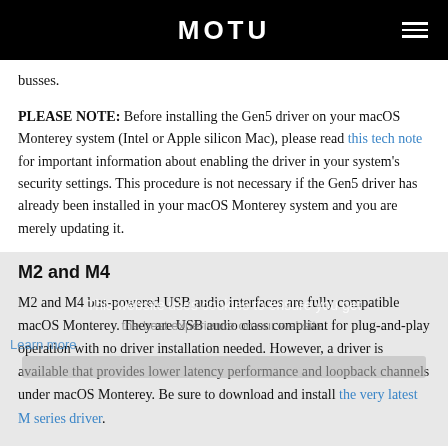MOTU
busses.
PLEASE NOTE: Before installing the Gen5 driver on your macOS Monterey system (Intel or Apple silicon Mac), please read this tech note for important information about enabling the driver in your system's security settings. This procedure is not necessary if the Gen5 driver has already been installed in your macOS Monterey system and you are merely updating it.
M2 and M4
M2 and M4 bus-powered USB audio interfaces are fully compatible macOS Monterey. They are USB audio class compliant for plug-and-play operation with no driver installation needed. However, a driver is available that provides lower latency performance and loopback channels under macOS Monterey. Be sure to download and install the very latest M series driver.